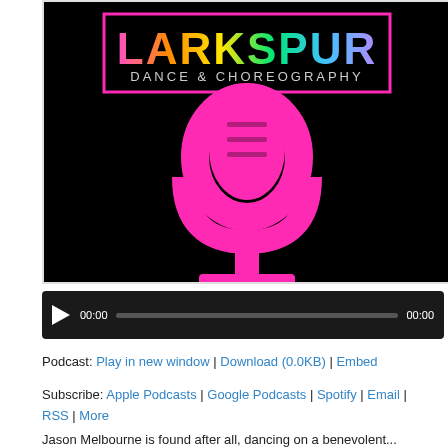[Figure (logo): Larkspur Dance & Choreography podcast cover art: black background with a large hot pink microphone icon and a colorful holographic rainbow-text logo reading LARKSPUR DANCE & CHOREOGRAPHY in a pink-bordered black rectangle.]
[Figure (screenshot): Audio player bar with play button, 00:00 timestamp, gray progress bar, and 00:00 end timestamp on dark background.]
Podcast: Play in new window | Download (0.0KB) | Embed
Subscribe: Apple Podcasts | Google Podcasts | Spotify | Email | RSS | More
Jason Melbourne is found after all, dancing on a benevolent...